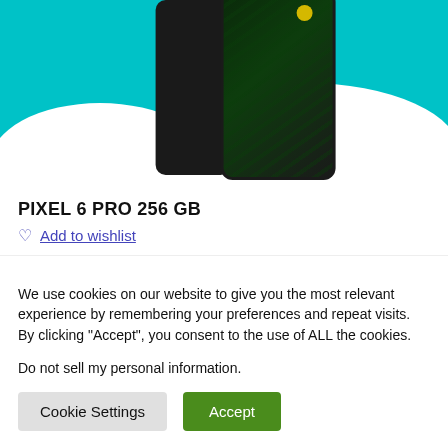[Figure (screenshot): Google Pixel 6 Pro smartphone product image on teal background with white curved shapes at the bottom]
PIXEL 6 PRO 256 GB
Add to wishlist
We use cookies on our website to give you the most relevant experience by remembering your preferences and repeat visits. By clicking "Accept", you consent to the use of ALL the cookies.
Do not sell my personal information.
Cookie Settings
Accept